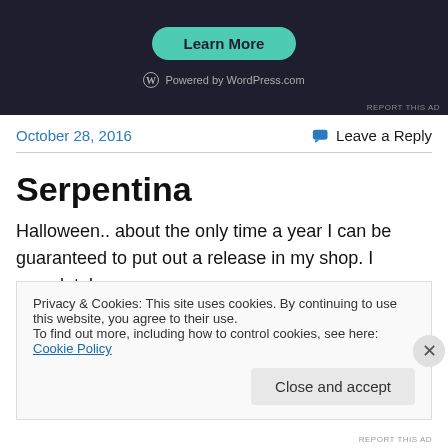[Figure (screenshot): Advertisement banner with teal 'Learn More' button and 'Powered by WordPress.com' text on dark background]
REPORT THIS AD
October 28, 2016
Leave a Reply
Serpentina
Halloween.. about the only time a year I can be guaranteed to put out a release in my shop. I completely
Privacy & Cookies: This site uses cookies. By continuing to use this website, you agree to their use.
To find out more, including how to control cookies, see here: Cookie Policy
Close and accept